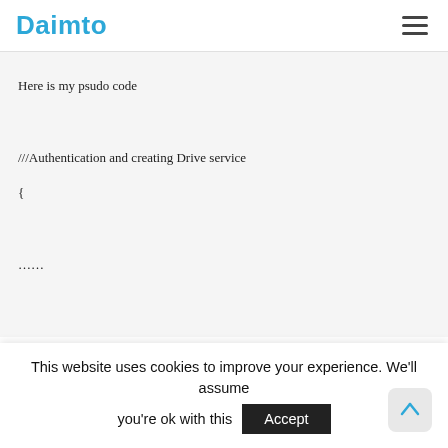Daimto
Here is my psudo code

///Authentication and creating Drive service
{

......

.......
}
String _FileID = null;
///Creating file initially and assigning properties
{
File _GoogleFile = new File();
_GoogleFile.title = “File 1”;
_GoogleFile.Parents.Add(ParentReference);
_GoogleFile = DriveService.Files.Insert(_GoogleFile).Execute();
_FileID = _Google...
This website uses cookies to improve your experience. We'll assume you're ok with this  Accept